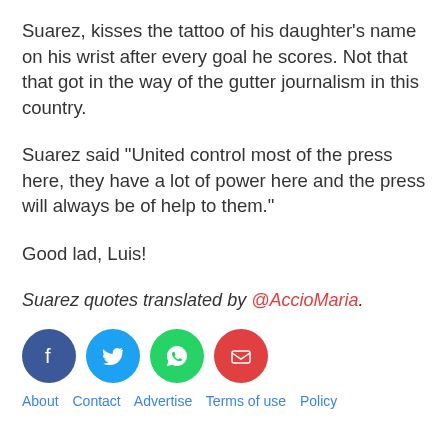Suarez, kisses the tattoo of his daughter’s name on his wrist after every goal he scores. Not that that got in the way of the gutter journalism in this country.
Suarez said “United control most of the press here, they have a lot of power here and the press will always be of help to them.”
Good lad, Luis!
Suarez quotes translated by @AccioMaria.
[Figure (infographic): Four circular social share buttons: Facebook (dark blue), Twitter (light blue), WhatsApp (green), Email (red)]
About  Contact  Advertise  Terms of use  Policy